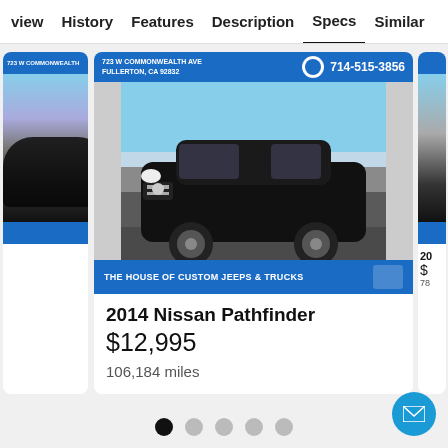view   History   Features   Description   Specs   Similar
[Figure (photo): Car listing carousel showing a 2014 Nissan Pathfinder (black SUV) from The House of Custom Jeeps & Trucks dealership at 723 W Commonwealth Ave, Fullerton CA 92832, phone 714-515-3856. Partially visible cars on left and right sides of carousel.]
2014 Nissan Pathfinder
$12,995
106,184 miles
20
$
78